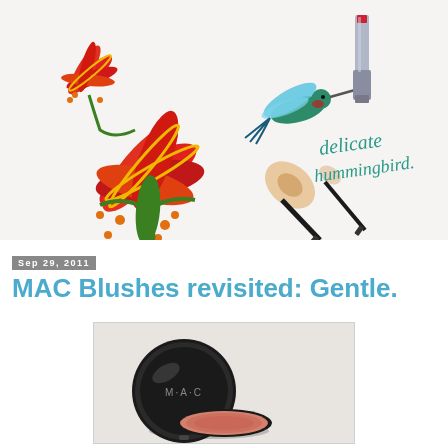[Figure (illustration): MAC Delicate Hummingbird collection promotional image featuring a painted red flame lily flower, a hummingbird in flight, MAC lipstick and makeup brushes on a white background with cursive text reading 'delicate hummingbird.']
Sep 29, 2011
MAC Blushes revisited: Gentle.
[Figure (photo): Photo of a MAC blush compact (powder) shown from above, partially open, with a dark circular case and the MAC logo visible on the lid, and the blush color visible inside.]